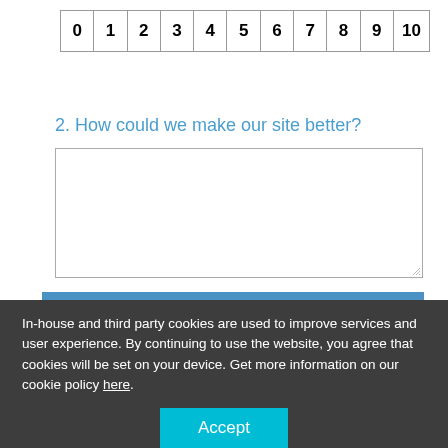| 0 | 1 | 2 | 3 | 4 | 5 | 6 | 7 | 8 | 9 | 10 |
| --- | --- | --- | --- | --- | --- | --- | --- | --- | --- | --- |
2. How could we make our site better?
[Figure (other): Empty textarea input box for user response]
Submit
In-house and third party cookies are used to improve services and user experience. By continuing to use the website, you agree that cookies will be set on your device. Get more information on our cookie policy here.
Accept